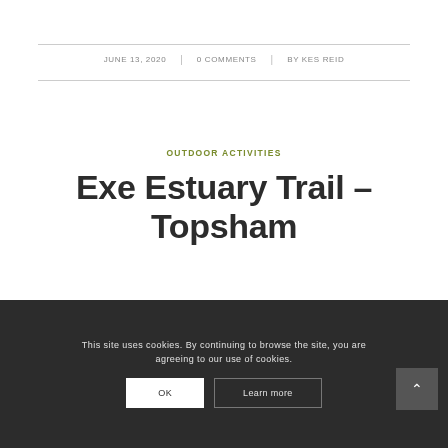JUNE 13, 2020 | 0 COMMENTS | BY KES REID
OUTDOOR ACTIVITIES
Exe Estuary Trail – Topsham
This site uses cookies. By continuing to browse the site, you are agreeing to our use of cookies.